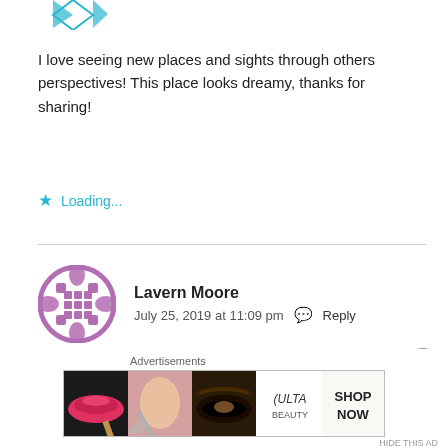[Figure (illustration): Partial teal/cyan geometric avatar icon at top, cropped]
I love seeing new places and sights through others perspectives! This place looks dreamy, thanks for sharing!
⭐ Loading...
Lavern Moore
July 25, 2019 at 11:09 pm   Reply
[Figure (illustration): Purple geometric circular avatar icon for Lavern Moore]
This seems like a great destination. I would love to travel here based on your review and images! Making plans to visit now!
[Figure (other): Ulta Beauty advertisement banner showing makeup images and SHOP NOW button]